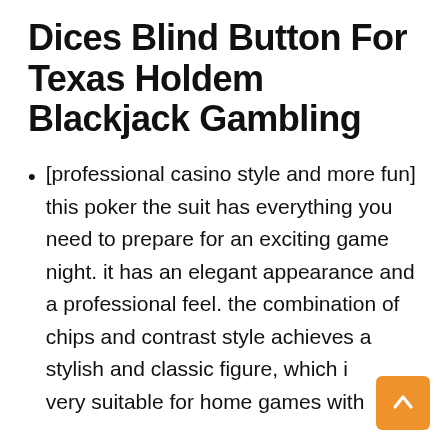Dices Blind Button For Texas Holdem Blackjack Gambling
[professional casino style and more fun] this poker the suit has everything you need to prepare for an exciting game night. it has an elegant appearance and a professional feel. the combination of chips and contrast style achieves a stylish and classic figure, which is very suitable for home games with